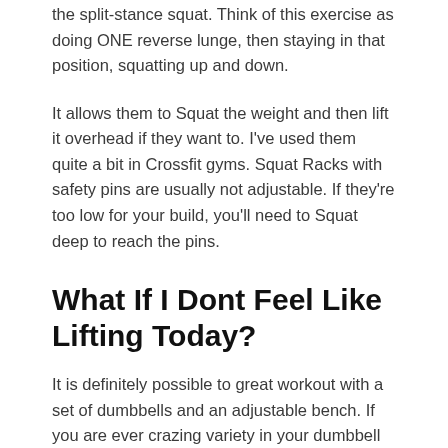the split-stance squat. Think of this exercise as doing ONE reverse lunge, then staying in that position, squatting up and down.
It allows them to Squat the weight and then lift it overhead if they want to. I've used them quite a bit in Crossfit gyms. Squat Racks with safety pins are usually not adjustable. If they're too low for your build, you'll need to Squat deep to reach the pins.
What If I Dont Feel Like Lifting Today?
It is definitely possible to great workout with a set of dumbbells and an adjustable bench. If you are ever crazing variety in your dumbbell workout head to Youtube for additional exercise ideas. I tried to find some of the best video demonstrations for each exercise listed in the dumbbell workouts. That dumbbell workout